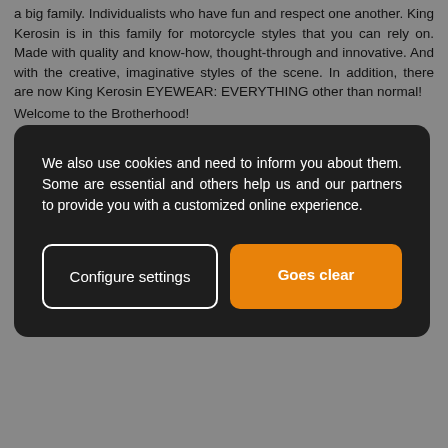a big family. Individualists who have fun and respect one another. King Kerosin is in this family for motorcycle styles that you can rely on. Made with quality and know-how, thought-through and innovative. And with the creative, imaginative styles of the scene. In addition, there are now King Kerosin EYEWEAR: EVERYTHING other than normal!
Welcome to the Brotherhood!
We also use cookies and need to inform you about them. Some are essential and others help us and our partners to provide you with a customized online experience.
Configure settings
Goes clear